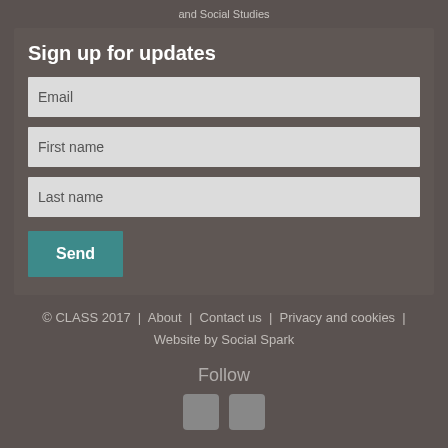and Social Studies
Sign up for updates
Email
First name
Last name
Send
© CLASS 2017  |  About  |  Contact us  |  Privacy and cookies  |  Website by Social Spark
Follow